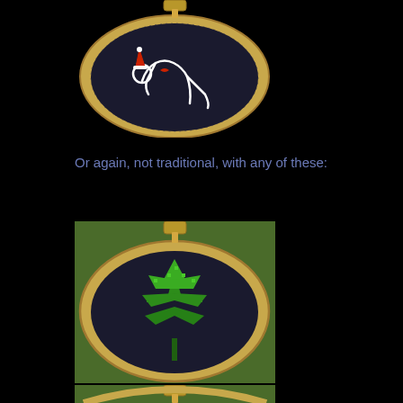[Figure (photo): Cross-stitch embroidery hoop on black background showing a white outline figure in a suggestive pose with red Santa hat details, mounted in a round wooden/gold hoop]
Or again, not traditional, with any of these:
[Figure (photo): Cross-stitch embroidery hoop on green background showing a green cannabis/marijuana leaf stitched on black fabric, mounted in a round wooden/gold hoop]
[Figure (photo): Partial view of another cross-stitch embroidery hoop, only top portion visible, mounted in a round wooden/gold hoop]